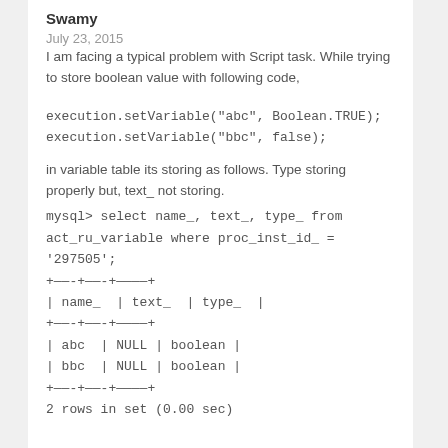Swamy
July 23, 2015
I am facing a typical problem with Script task. While trying to store boolean value with following code,
execution.setVariable("abc", Boolean.TRUE);
execution.setVariable("bbc", false);
in variable table its storing as follows. Type storing properly but, text_ not storing.
mysql> select name_, text_, type_ from act_ru_variable where proc_inst_id_ = '297505';
+------+------+--------+
| name_ | text_ | type_ |
+------+------+--------+
| abc | NULL | boolean |
| bbc | NULL | boolean |
+------+------+--------+
2 rows in set (0.00 sec)